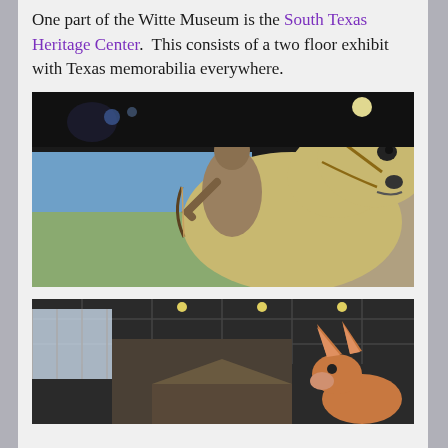One part of the Witte Museum is the South Texas Heritage Center. This consists of a two floor exhibit with Texas memorabilia everywhere.
[Figure (photo): A large museum exhibit showing a life-size sculpture of a Native American warrior riding a horse, set against a dramatic backdrop. The horse's head dominates the right side of the frame with stone walls visible behind. The rider appears to be holding a bow.]
[Figure (photo): Interior of a museum with a black ceiling with exposed grid structure and large windows. A large animal exhibit (possibly a coyote or wolf) is visible in the lower right portion of the image. The space appears to be a large open exhibit hall.]